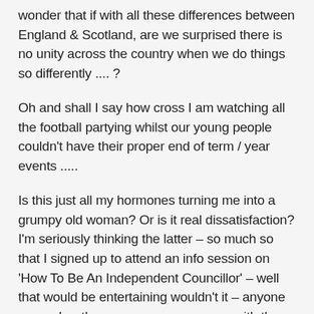wonder that if with all these differences between England & Scotland, are we surprised there is no unity across the country when we do things so differently .... ?
Oh and shall I say how cross I am watching all the football partying whilst our young people couldn't have their proper end of term / year events .....
Is this just all my hormones turning me into a grumpy old woman? Or is it real dissatisfaction? I'm seriously thinking the latter – so much so that I signed up to attend an info session on 'How To Be An Independent Councillor' – well that would be entertaining wouldn't it – anyone remember the programme years ago with the actress who played Bubbles from Ab Fab as a